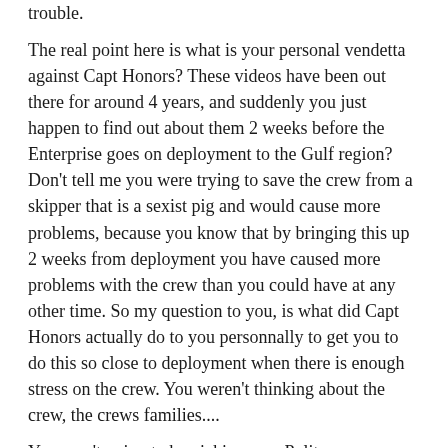trouble.
The real point here is what is your personal vendetta against Capt Honors? These videos have been out there for around 4 years, and suddenly you just happen to find out about them 2 weeks before the Enterprise goes on deployment to the Gulf region? Don't tell me you were trying to save the crew from a skipper that is a sexist pig and would cause more problems, because you know that by bringing this up 2 weeks from deployment you have caused more problems with the crew than you could have at any other time. So my question to you, is what did Capt Honors actually do to you personnally to get you to do this so close to deployment when there is enough stress on the crew. You weren't thinking about the crew, the crews families....
You aren't going to be picking up a Pulitzer or